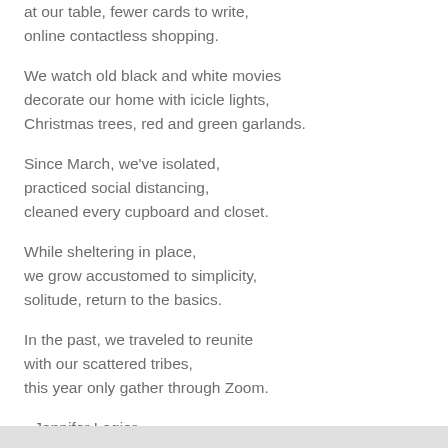at our table, fewer cards to write,
online contactless shopping.
We watch old black and white movies
decorate our home with icicle lights,
Christmas trees, red and green garlands.
Since March, we've isolated,
practiced social distancing,
cleaned every cupboard and closet.
While sheltering in place,
we grow accustomed to simplicity,
solitude, return to the basics.
In the past, we traveled to reunite
with our scattered tribes,
this year only gather through Zoom.
--Jennifer Lagier